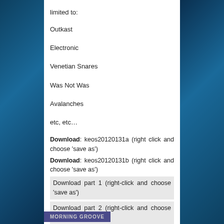limited to:
Outkast
Electronic
Venetian Snares
Was Not Was
Avalanches
etc, etc…
Download: keos20120131a (right click and choose 'save as')
Download: keos20120131b (right click and choose 'save as')
Download part 1 (right-click and choose 'save as')
Download part 2 (right-click and choose 'save as')
Tags 2012, dj dag-nab-it, dj noggin, hip hop, house, idm, keos, mix, radio, techno, trip hop, vinyl | Permalink | Comment (0)
MORNING GROOVE